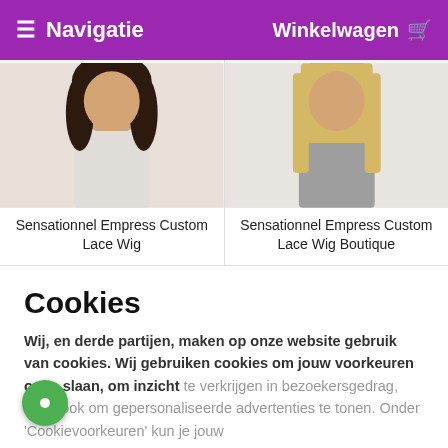≡ Navigatie   Winkelwagen 🛒
[Figure (photo): Two product images side by side showing women wearing wigs]
Sensationnel Empress Custom Lace Wig
Sensationnel Empress Custom Lace Wig Boutique
Cookies
Wij, en derde partijen, maken op onze website gebruik van cookies. Wij gebruiken cookies om jouw voorkeuren op te slaan, om inzicht te verkrijgen in bezoekersgedrag, maar ook om gepersonaliseerde advertenties te tonen. Onder 'Cookievoorkeuren' kun je jouw
Alle cookies accepteren
Cookievoorkeuren